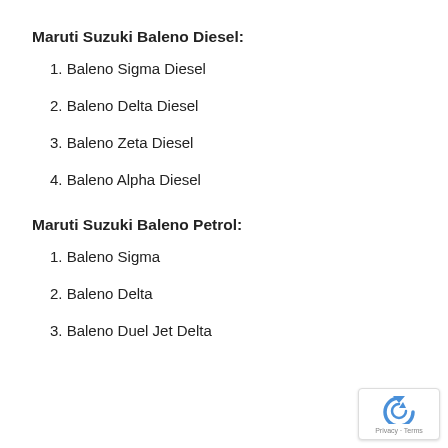Maruti Suzuki Baleno Diesel:
1. Baleno Sigma Diesel
2. Baleno Delta Diesel
3. Baleno Zeta Diesel
4. Baleno Alpha Diesel
Maruti Suzuki Baleno Petrol:
1. Baleno Sigma
2. Baleno Delta
3. Baleno Duel Jet Delta